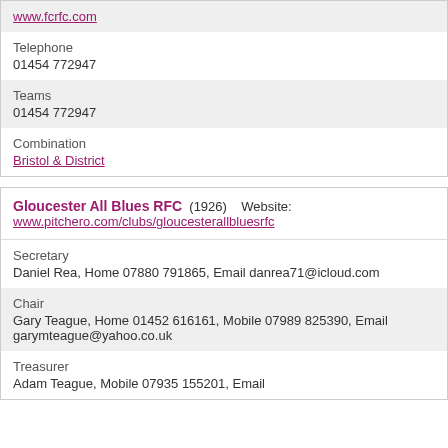www.fcrfc.com
Telephone
01454 772947
Teams
01454 772947
Combination
Bristol & District
Gloucester All Blues RFC  (1926)  Website: www.pitchero.com/clubs/gloucesterallbluesrfc
Secretary
Daniel Rea, Home 07880 791865, Email danrea71@icloud.com
Chair
Gary Teague, Home 01452 616161, Mobile 07989 825390, Email garymteague@yahoo.co.uk
Treasurer
Adam Teague, Mobile 07935 155201, Email